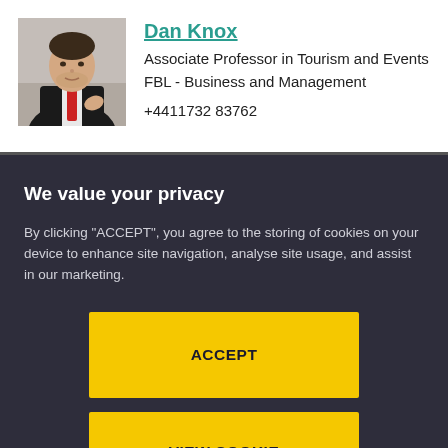[Figure (photo): Headshot photo of Dan Knox, a man wearing a dark jacket and red tie, gesturing with hands]
Dan Knox
Associate Professor in Tourism and Events
FBL - Business and Management
+4411732 83762
We value your privacy
By clicking "ACCEPT", you agree to the storing of cookies on your device to enhance site navigation, analyse site usage, and assist in our marketing.
ACCEPT
VIEW COOKIE SETTINGS